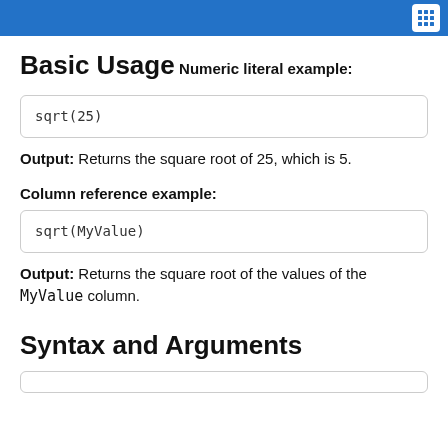Basic Usage
Numeric literal example:
sqrt(25)
Output: Returns the square root of 25, which is 5.
Column reference example:
sqrt(MyValue)
Output: Returns the square root of the values of the MyValue column.
Syntax and Arguments